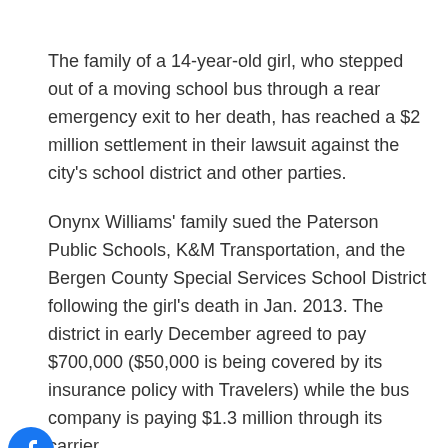The family of a 14-year-old girl, who stepped out of a moving school bus through a rear emergency exit to her death, has reached a $2 million settlement in their lawsuit against the city's school district and other parties.
Onynx Williams' family sued the Paterson Public Schools, K&M Transportation, and the Bergen County Special Services School District following the girl's death in Jan. 2013. The district in early December agreed to pay $700,000 ($50,000 is being covered by its insurance policy with Travelers) while the bus company is paying $1.3 million through its carrier.
Additionally, the Bergen County Special Services School District offered $200,000 judgment against itself to settle all claims in the lawsuit, according to a Dec. 8, 2017 letter from its attorneys. This offer was reportedly rejected by the family.
The settlement was reached between the parties in a Nov. 30, 2017 mediation session, according to court filings. School